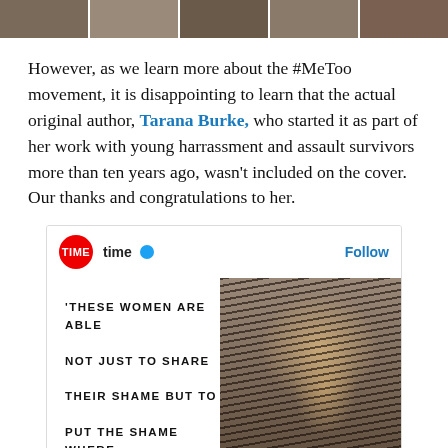[Figure (photo): Strip of portrait photos of women at the top of the page]
However, as we learn more about the #MeToo movement, it is disappointing to learn that the actual original author, Tarana Burke, who started it as part of her work with young harrassment and assault survivors more than ten years ago, wasn't included on the cover. Our thanks and congratulations to her.
[Figure (screenshot): Instagram post by TIME magazine showing Tarana Burke with bold quote text: 'THESE WOMEN ARE ABLE NOT JUST TO SHARE THEIR SHAME BUT TO PUT THE SHAME WHERE'. TIME logo and Follow button visible in the header.]